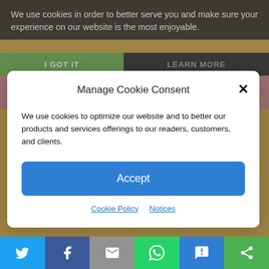We use cookies in order to better serve you and make sure your experience on our website is the most enjoyable.
I GOT IT
LEARN MORE
Manage Cookie Consent
We use cookies to optimize our website and to better our products and services offerings to our readers, customers, and clients.
Accept
Cookie Policy   Notices
you have millions to...
Personal Development
[Figure (screenshot): Social sharing bar with Twitter, Facebook, Email, WhatsApp, SMS, and Share icons]